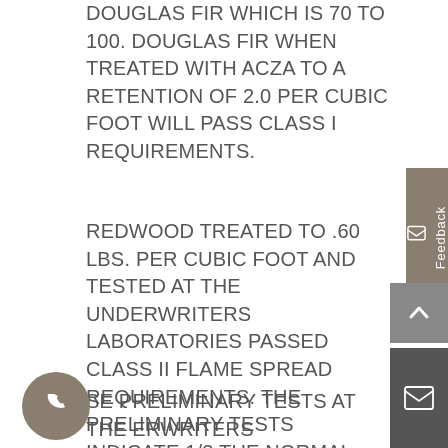DOUGLAS FIR WHICH IS 70 TO 100. DOUGLAS FIR WHEN TREATED WITH ACZA TO A RETENTION OF 2.0 PER CUBIC FOOT WILL PASS CLASS I REQUIREMENTS.
REDWOOD TREATED TO .60 LBS. PER CUBIC FOOT AND TESTED AT THE UNDERWRITERS LABORATORIES PASSED CLASS II FLAME SPREAD REQUIREMENTS. THE PRELIMINARY TESTS INDICATE 1/3 THE NORMAL SPREAD OF UNTREATED REDWOOD. THE PRELIMINARY TESTS ALSO INDICATE THAT REDWOOD TREATED WITH ACZA TO A RETENTION OF 2.0 LBS. PER CUBIC FOOT WILL PASS CLASS I.
SE PRELIMINARY TESTS AT THE ERWRITERS LABORATORIES CONFIRM AND DOCUMENT THAT ACZA PRESSURE TREATMENT